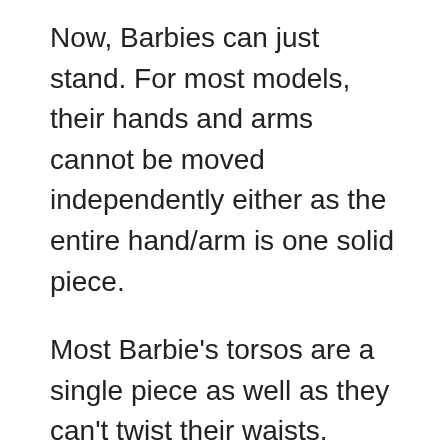Now, Barbies can just stand. For most models, their hands and arms cannot be moved independently either as the entire hand/arm is one solid piece.
Most Barbie's torsos are a single piece as well as they can't twist their waists.
This is probably owing to the change in materials used to create Barbie dolls. Old Barbies from way back in the 60s and 70s were made of soft vinyl that